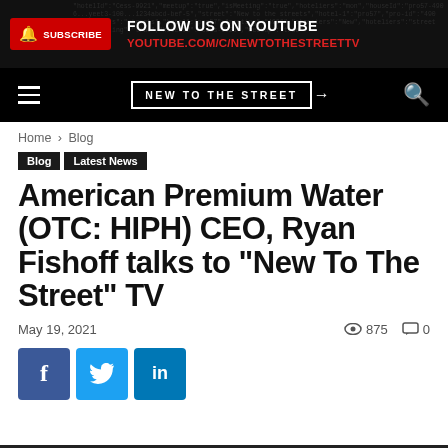[Figure (screenshot): YouTube subscribe banner with red subscribe button and text 'FOLLOW US ON YOUTUBE YOUTUBE.COM/C/NEWTOTHESTREETTV']
[Figure (screenshot): Navigation bar with hamburger menu, 'NEW TO THE STREET' logo, and search icon on black background]
Home › Blog
Blog   Latest News
American Premium Water (OTC: HIPH) CEO, Ryan Fishoff talks to "New To The Street" TV
May 19, 2021    👁 875   💬 0
[Figure (screenshot): Social share buttons: Facebook (f), Twitter (bird), LinkedIn (in)]